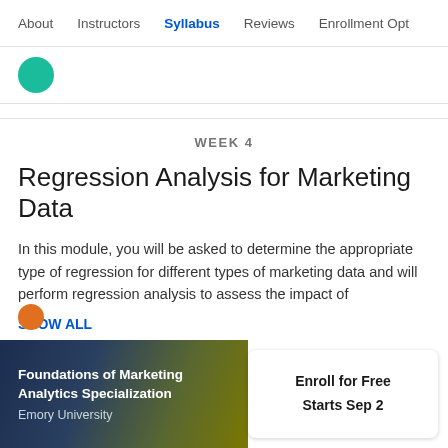About   Instructors   Syllabus   Reviews   Enrollment Opt
[Figure (logo): Teal circular icon partially visible]
WEEK 4
Regression Analysis for Marketing Data
In this module, you will be asked to determine the appropriate type of regression for different types of marketing data and will perform regression analysis to assess the impact of
SHOW ALL
Foundations of Marketing Analytics Specialization
Emory University
Enroll for Free
Starts Sep 2